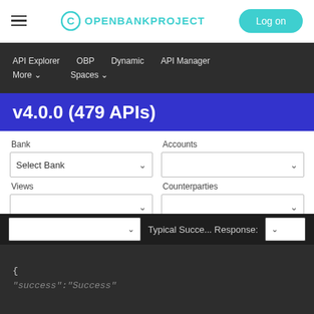OPENBANKPROJECT — Log on
API Explorer  OBP  Dynamic  API Manager  More ∨  Spaces ∨
v4.0.0 (479 APIs)
Bank  Accounts  Select Bank  Views  Counterparties
Typical Succe... Response:
{